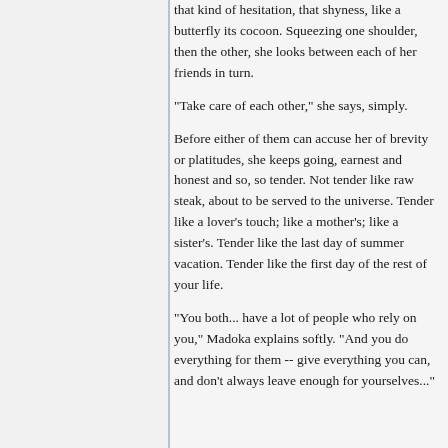that kind of hesitation, that shyness, like a butterfly its cocoon. Squeezing one shoulder, then the other, she looks between each of her friends in turn.
"Take care of each other," she says, simply.
Before either of them can accuse her of brevity or platitudes, she keeps going, earnest and honest and so, so tender. Not tender like raw steak, about to be served to the universe. Tender like a lover's touch; like a mother's; like a sister's. Tender like the last day of summer vacation. Tender like the first day of the rest of your life.
"You both... have a lot of people who rely on you," Madoka explains softly. "And you do everything for them -- give everything you can, and don't always leave enough for yourselves..."